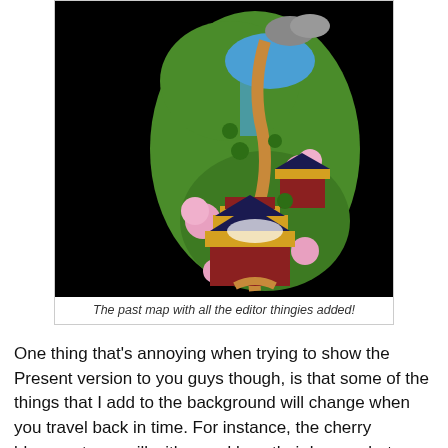[Figure (screenshot): A pixel-art game map showing a Japanese-style village/temple area with cherry blossom trees, buildings with red and gold roofs, a winding path, water features, and green terrain against a black background.]
The past map with all the editor thingies added!
One thing that's annoying when trying to show the Present version to you guys though, is that some of the things that I add to the background will change when you travel back in time. For instance, the cherry blossom trees will wither and lose their leaves, but since that's an effect that only happens in the game engine and not with the editor, I can't really take proper screenshots of what these areas will look like, at least not until Teddy has implemented them properly so I can